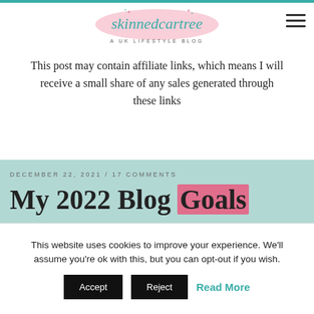[Figure (logo): skinnedcartree - A UK Lifestyle Blog logo with teal script text on pink watercolor blob background]
This post may contain affiliate links, which means I will receive a small share of any sales generated through these links
DECEMBER 22, 2021 / 17 COMMENTS
My 2022 Blog Goals
So as the year comes to an end, it's time to start
This website uses cookies to improve your experience. We'll assume you're ok with this, but you can opt-out if you wish.